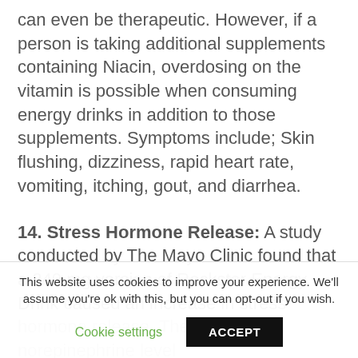can even be therapeutic. However, if a person is taking additional supplements containing Niacin, overdosing on the vitamin is possible when consuming energy drinks in addition to those supplements. Symptoms include; Skin flushing, dizziness, rapid heart rate, vomiting, itching, gout, and diarrhea.
14. Stress Hormone Release: A study conducted by The Mayo Clinic found that a 240 mg version of Rockstar Energy Drink caused an increase in stress hormone release. The average norepinephrine level
This website uses cookies to improve your experience. We'll assume you're ok with this, but you can opt-out if you wish.
Cookie settings | ACCEPT